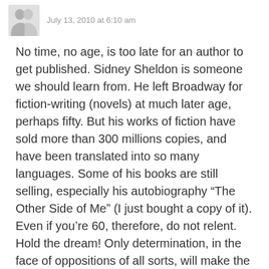July 13, 2010 at 6:10 am
No time, no age, is too late for an author to get published. Sidney Sheldon is someone we should learn from. He left Broadway for fiction-writing (novels) at much later age, perhaps fifty. But his works of fiction have sold more than 300 millions copies, and have been translated into so many languages. Some of his books are still selling, especially his autobiography “The Other Side of Me” (I just bought a copy of it). Even if you’re 60, therefore, do not relent. Hold the dream! Only determination, in the face of oppositions of all sorts, will make the dream come true. However, if you’re 10 or 15, know that life is like a journey; as you keep moving, you keep